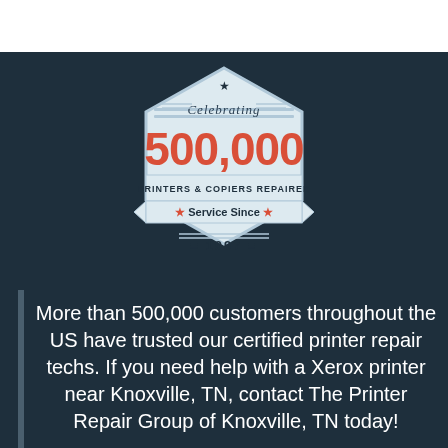[Figure (logo): Badge/seal graphic celebrating 500,000 printers and copiers repaired, service since 1997. Hexagonal shape with light blue/white background, red '500,000' text, dark text 'PRINTERS & COPIERS REPAIRED', 'Service Since', and '1997'.]
More than 500,000 customers throughout the US have trusted our certified printer repair techs. If you need help with a Xerox printer near Knoxville, TN, contact The Printer Repair Group of Knoxville, TN today!